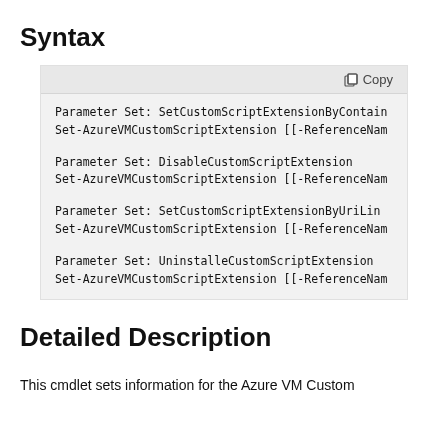Syntax
Parameter Set: SetCustomScriptExtensionByContain
Set-AzureVMCustomScriptExtension [[-ReferenceNam

Parameter Set: DisableCustomScriptExtension
Set-AzureVMCustomScriptExtension [[-ReferenceNam

Parameter Set: SetCustomScriptExtensionByUriLin
Set-AzureVMCustomScriptExtension [[-ReferenceNam

Parameter Set: UninstalleCustomScriptExtension
Set-AzureVMCustomScriptExtension [[-ReferenceNam
Detailed Description
This cmdlet sets information for the Azure VM Custom